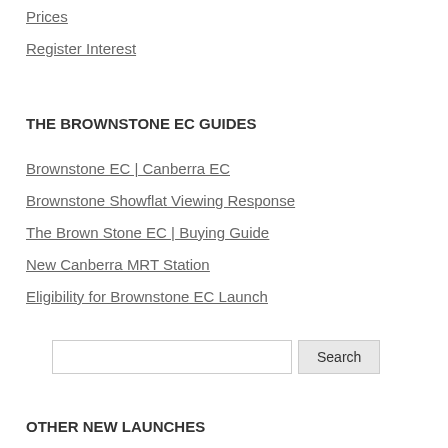Prices
Register Interest
THE BROWNSTONE EC GUIDES
Brownstone EC | Canberra EC
Brownstone Showflat Viewing Response
The Brown Stone EC | Buying Guide
New Canberra MRT Station
Eligibility for Brownstone EC Launch
OTHER NEW LAUNCHES